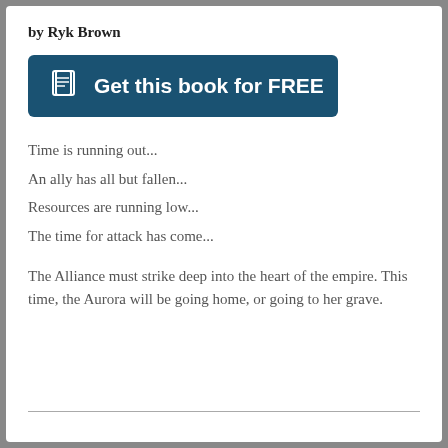by Ryk Brown
[Figure (other): Dark teal rounded button with book icon and text 'Get this book for FREE']
Time is running out...
An ally has all but fallen...
Resources are running low...
The time for attack has come...
The Alliance must strike deep into the heart of the empire. This time, the Aurora will be going home, or going to her grave.